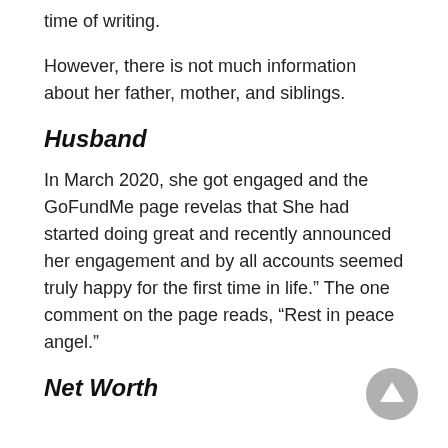time of writing.
However, there is not much information about her father, mother, and siblings.
Husband
In March 2020, she got engaged and the GoFundMe page revelas that She had started doing great and recently announced her engagement and by all accounts seemed truly happy for the first time in life.” The one comment on the page reads, “Rest in peace angel.”
Net Worth